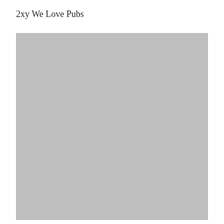2xy We Love Pubs
[Figure (photo): A large grey placeholder image rectangle, approximately 384x374 pixels, with a uniform light grey fill.]